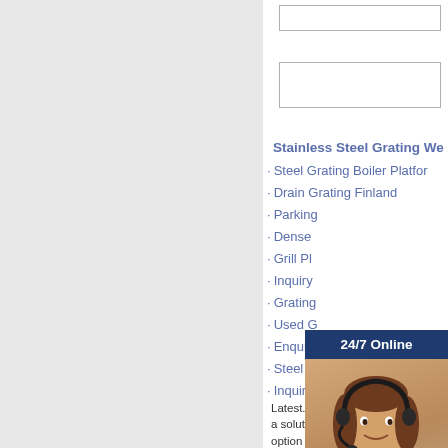[Figure (screenshot): Two input form fields (text boxes) on white background]
Stainless Steel Grating We...
Steel Grating Boiler Platfor...
Drain Grating Finland
Parking...
Dense...
Grill Pl...
Inquiry...
Grating...
Used G...
Enquiry...
Steel G...
Inquiry...
[Figure (infographic): 24/7 Online chat widget with female headset operator photo, 'Have any requests, click here.' message and orange Quotation button]
Latest... including instructions and a solution to protecting your option on possible acciden...